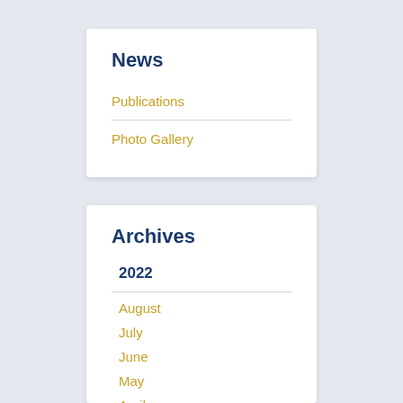News
Publications
Photo Gallery
Archives
2022
August
July
June
May
April
March